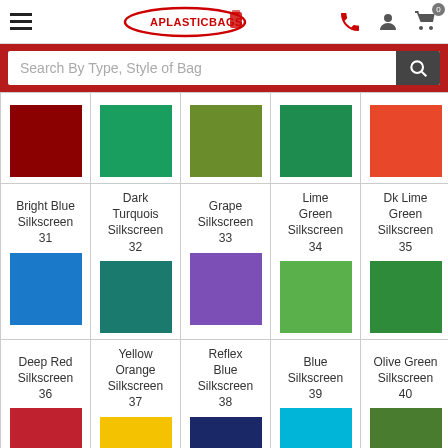[Figure (screenshot): APlasticBags website header with hamburger menu, logo, phone icon, user icon, and cart icon with 0 badge]
Search By Type, Style of Bag
| Bright Blue Silkscreen 31 | Dark Turquois Silkscreen 32 | Grape Silkscreen 33 | Lime Green Silkscreen 34 | Dk Lime Green Silkscreen 35 |
| Deep Red Silkscreen 36 | Yellow Orange Silkscreen 37 | Reflex Blue Silkscreen 38 | Blue Silkscreen 39 | Olive Green Silkscreen 40 |